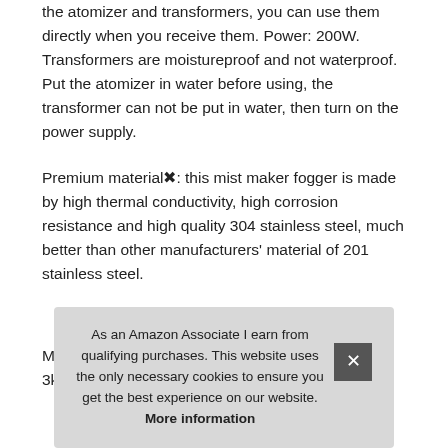the atomizer and transformers, you can use them directly when you receive them. Power: 200W. Transformers are moistureproof and not waterproof. Put the atomizer in water before using, the transformer can not be put in water, then turn on the power supply.
Premium material✦: this mist maker fogger is made by high thermal conductivity, high corrosion resistance and high quality 304 stainless steel, much better than other manufacturers' material of 201 stainless steel.
More information #ad
Main parameter✦: ultrasonic nebulizer sprays up to 3kg per hou... rapi... wat... tec... inclu...
As an Amazon Associate I earn from qualifying purchases. This website uses the only necessary cookies to ensure you get the best experience on our website. More information